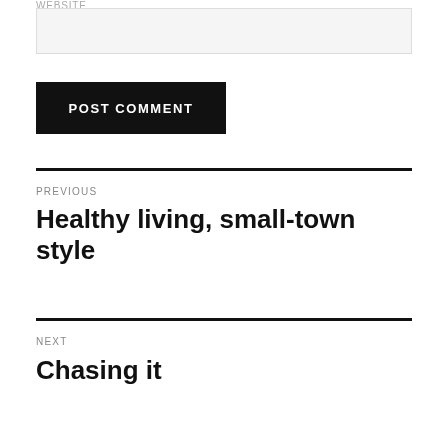WEBSITE
[input field]
POST COMMENT
PREVIOUS
Healthy living, small-town style
NEXT
Chasing it